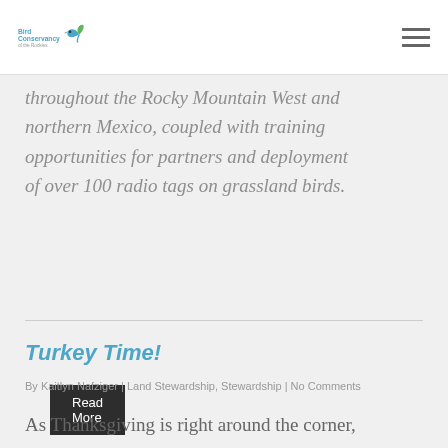Bird Conservancy of the Rockies
throughout the Rocky Mountain West and northern Mexico, coupled with training opportunities for partners and deployment of over 100 radio tags on grassland birds.
Read More
Turkey Time!
By Kaitlyn Nafziger | Land Stewardship, Stewardship | No Comments
As Thanksgiving is right around the corner,